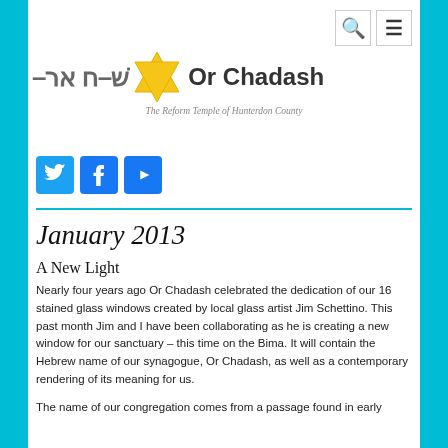[Figure (logo): Or Chadash synagogue logo with Hebrew text, Star of David, and subtitle 'The Reform Temple of Hunterdon County']
[Figure (infographic): Social media icons: Twitter (blue bird), Facebook (blue f), YouTube (blue play button)]
January 2013
A New Light
Nearly four years ago Or Chadash celebrated the dedication of our 16 stained glass windows created by local glass artist Jim Schettino. This past month Jim and I have been collaborating as he is creating a new window for our sanctuary – this time on the Bima. It will contain the Hebrew name of our synagogue, Or Chadash, as well as a contemporary rendering of its meaning for us.
The name of our congregation comes from a passage found in early